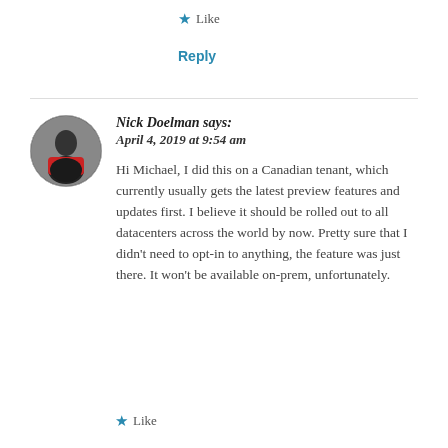★ Like
Reply
Nick Doelman says:
April 4, 2019 at 9:54 am
Hi Michael, I did this on a Canadian tenant, which currently usually gets the latest preview features and updates first. I believe it should be rolled out to all datacenters across the world by now. Pretty sure that I didn't need to opt-in to anything, the feature was just there. It won't be available on-prem, unfortunately.
★ Like